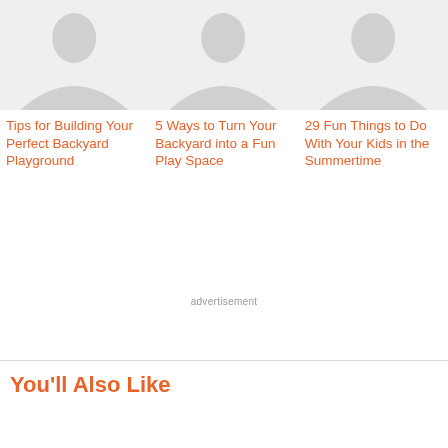[Figure (illustration): Placeholder silhouette image for article about building a backyard playground]
Tips for Building Your Perfect Backyard Playground
[Figure (illustration): Placeholder silhouette image for article about turning backyard into a fun play space]
5 Ways to Turn Your Backyard into a Fun Play Space
[Figure (illustration): Placeholder silhouette image for article about fun things to do with kids in summertime]
29 Fun Things to Do With Your Kids in the Summertime
advertisement
You'll Also Like